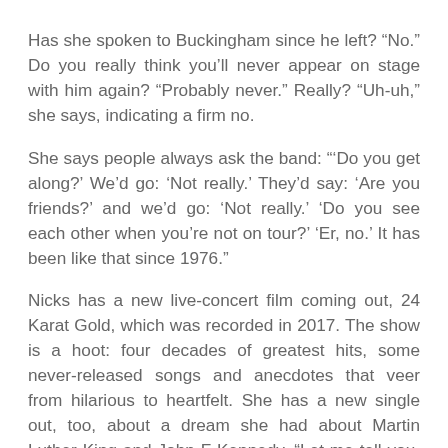Has she spoken to Buckingham since he left? “No.” Do you really think you’ll never appear on stage with him again? “Probably never.” Really? “Uh-uh,” she says, indicating a firm no.
She says people always ask the band: “‘Do you get along?’ We’d go: ‘Not really.’ They’d say: ‘Are you friends?’ and we’d go: ‘Not really.’ ‘Do you see each other when you’re not on tour?’ ‘Er, no.’ It has been like that since 1976.”
Nicks has a new live-concert film coming out, 24 Karat Gold, which was recorded in 2017. The show is a hoot: four decades of greatest hits, some never-released songs and anecdotes that veer from hilarious to heartfelt. She has a new single out, too, about a dream she had about Martin Luther King and John F Kennedy. “Let me tell you, honey, the rock’n’roll version will just knock your socks off,” she says. “But the acoustic version will break your heart.” Both were recorded remotely, with Dave Grohl on drums and Dave Stewart on guitar.
Nicks has been described by male colleagues as an “ego”